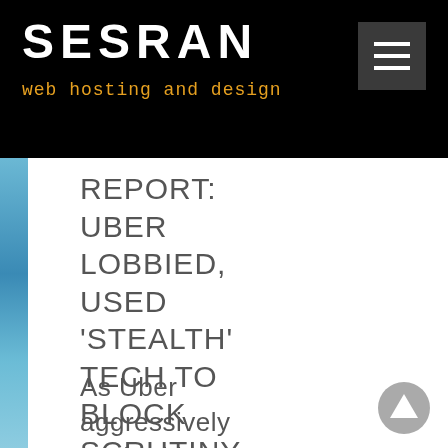SESRAN
web hosting and design
REPORT:
UBER
LOBBIED,
USED
'STEALTH'
TECH TO
BLOCK
SCRUTINY
As Uber aggressively pushed into markets around the world, the